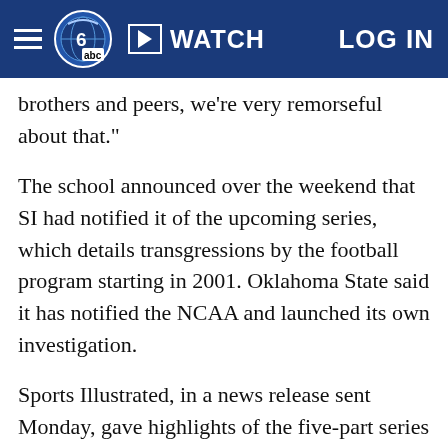WATCH  LOG IN
brothers and peers, we're very remorseful about that."
The school announced over the weekend that SI had notified it of the upcoming series, which details transgressions by the football program starting in 2001. Oklahoma State said it has notified the NCAA and launched its own investigation.
Sports Illustrated, in a news release sent Monday, gave highlights of the five-part series that will begin Tuesday with a posting on SI.com. The magazine says it conducted interviews with more than 60 former Oklahoma State players who played for the school from 2001-10.
Among the allegations of misconduct and potential NCAA violations are:
- An Oklahoma State assistant coach paid cash bonuses to